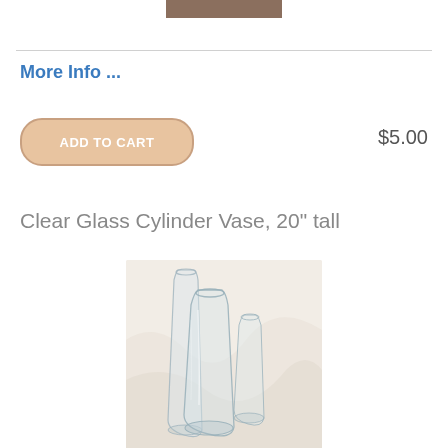[Figure (photo): Partial product image strip at top of page, showing a brown/wooden surface]
More Info ...
ADD TO CART
$5.00
Clear Glass Cylinder Vase, 20" tall
[Figure (photo): Photo of clear glass cylinder vases of different heights arranged on a white fabric background]